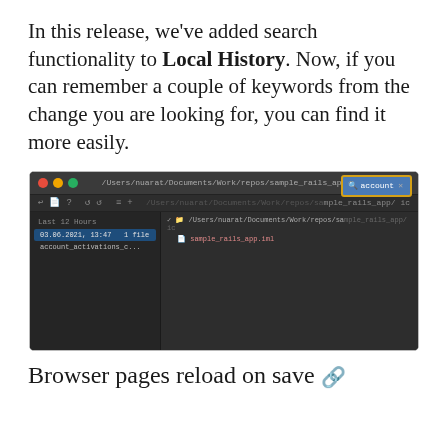In this release, we've added search functionality to Local History. Now, if you can remember a couple of keywords from the change you are looking for, you can find it more easily.
[Figure (screenshot): IDE window showing Local History with search functionality. The title bar shows /Users/nuarat/Documents/Work/repos/sample_rails_app. A search box with 'account' typed is highlighted with a yellow/orange border in the top right. The left panel shows 'Last 12 Hours' with an entry: '03.06.2021, 13:47   1 file  account_activations_c...'. The right panel shows path /Users/nuarat/Documents/Work/repos/sample_rails_app/ and file sample_rails_app.iml.]
Browser pages reload on save 🔗